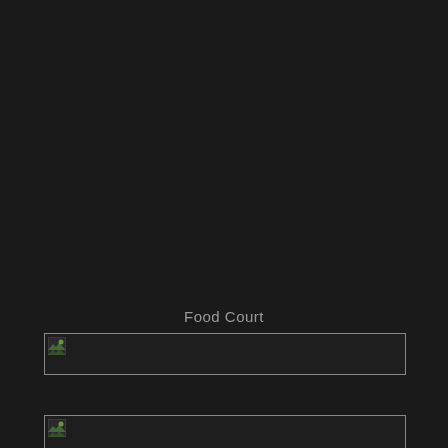Food Court
[Figure (photo): Broken image placeholder - top image box with small broken image icon in upper left corner]
[Figure (photo): Broken image placeholder - bottom image box with small broken image icon in upper left corner]